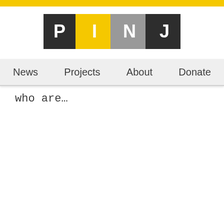[Figure (logo): PINJ logo with colored letter blocks: P in dark/black, I in yellow, N in gray, J in dark/black, separated by colored dividers]
News  Projects  About  Donate
who are…